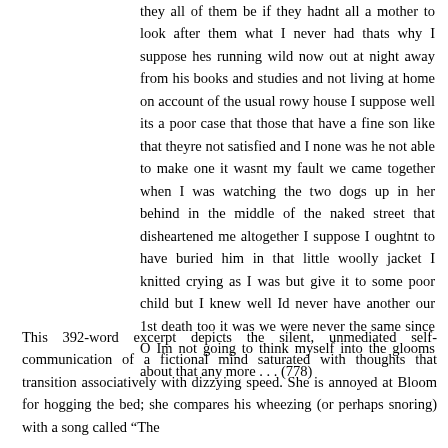they all of them be if they hadnt all a mother to look after them what I never had thats why I suppose hes running wild now out at night away from his books and studies and not living at home on account of the usual rowy house I suppose well its a poor case that those that have a fine son like that theyre not satisfied and I none was he not able to make one it wasnt my fault we came together when I was watching the two dogs up in her behind in the middle of the naked street that disheartened me altogether I suppose I oughtnt to have buried him in that little woolly jacket I knitted crying as I was but give it to some poor child but I knew well Id never have another our 1st death too it was we were never the same since O Im not going to think myself into the glooms about that any more . . . (778)
This 392-word excerpt depicts the silent, unmediated self-communication of a fictional mind saturated with thoughts that transition associatively with dizzying speed. She is annoyed at Bloom for hogging the bed; she compares his wheezing (or perhaps snoring) with a song called "The